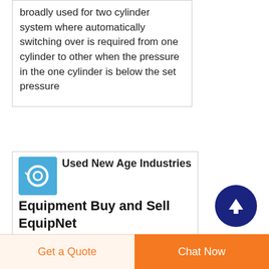broadly used for two cylinder system where automatically switching over is required from one cylinder to other when the pressure in the one cylinder is below the set pressure
[Figure (logo): Blue square icon with a circular ring/gasket illustration in white]
Used New Age Industries Equipment Buy and Sell EquipNet
View Listing Compare Unused Master Engineering F20004 6690 Litre 316L Stainless Steel Jacketed Crystalliser
[Figure (other): Dark navy blue circle with white upward arrow icon — scroll-to-top button]
Get a Quote
Chat Now